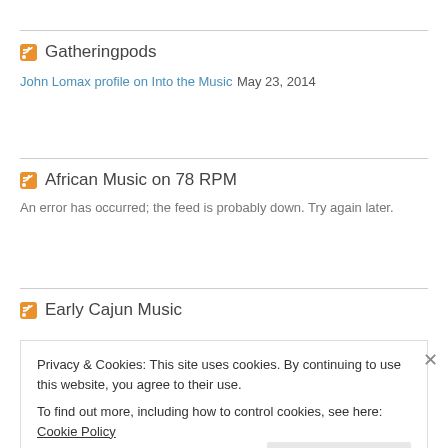Gatheringpods
John Lomax profile on Into the Music May 23, 2014
African Music on 78 RPM
An error has occurred; the feed is probably down. Try again later.
Early Cajun Music
Privacy & Cookies: This site uses cookies. By continuing to use this website, you agree to their use. To find out more, including how to control cookies, see here: Cookie Policy Close and accept